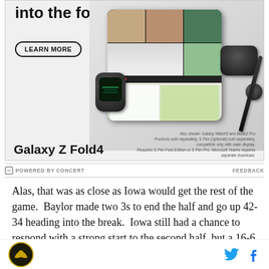[Figure (illustration): Samsung Galaxy Z Fold4 advertisement banner showing 'into the fold' headline, LEARN MORE button, Galaxy Z Fold4 device with video call on screen, Galaxy Watch5, Buds2 Pro, and S Pen. Bottom text reads 'Galaxy Z Fold4' with disclaimer text about products sold separately.]
POWERED BY CONCERT
FEEDBACK
Alas, that was as close as Iowa would get the rest of the game.  Baylor made two 3s to end the half and go up 42-34 heading into the break.  Iowa still had a chance to respond with a strong start to the second half, but a 16-6 run by Baylor to open the half put
[Figure (logo): Sports team logo - eagle emblem with gold and black colors in circular design]
[Figure (illustration): Twitter bird icon in light blue and Facebook 'f' icon in blue - social media sharing buttons]